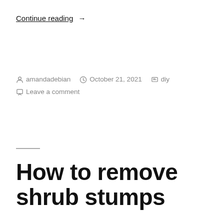Continue reading →
By amandadebian  October 21, 2021  diy  Leave a comment
How to remove shrub stumps